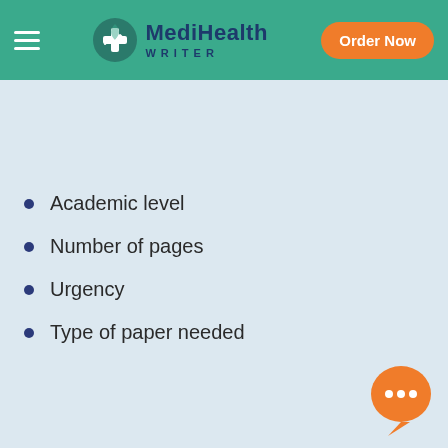MediHealth WRITER — Order Now
Academic level
Number of pages
Urgency
Type of paper needed
| Deadline | 4 hours |
| --- | --- |
| High School | $33 |
| Undergrad. (yrs 1-2) | $40 |
| Undergrad. (yrs 3-4) |  |
| Master's | n/a |